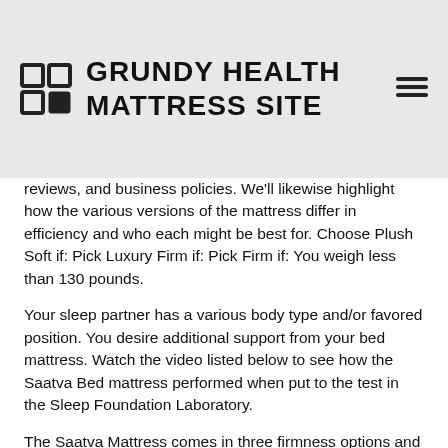GRUNDY HEALTH MATTRESS SITE
reviews, and business policies. We'll likewise highlight how the various versions of the mattress differ in efficiency and who each might be best for. Choose Plush Soft if: Pick Luxury Firm if: Pick Firm if: You weigh less than 130 pounds.
Your sleep partner has a various body type and/or favored position. You desire additional support from your bed mattress. Watch the video listed below to see how the Saatva Bed mattress performed when put to the test in the Sleep Foundation Laboratory.
The Saatva Mattress comes in three firmness options and 2 height choices. The firmness options are Luxurious Soft (3 ), Luxury Firm (6 ), and Company (8 ). This material allows airflow into the bed mattress while feeling soft to the touch.
Which Is Better